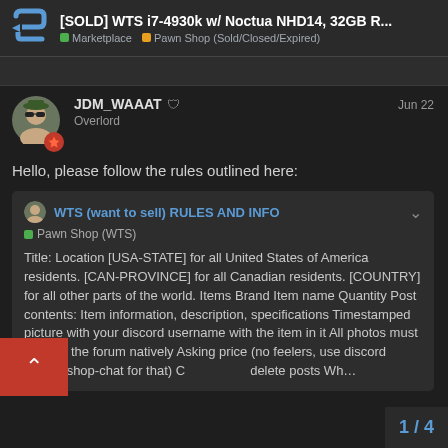[SOLD] WTS i7-4930k w/ Noctua NHD14, 32GB R... | Marketplace | Pawn Shop (Sold/Closed/Expired)
Hello, please follow the rules outlined here:
WTS (want to sell) RULES AND INFO
Pawn Shop (WTS)
Title: Location [USA-STATE] for all United States of America residents. [CAN-PROVINCE] for all Canadian residents. [COUNTRY] for all other parts of the world. Items Brand Item name Quantity Post contents: Item information, description, specifications Timestamped picture with your discord username with the item in it All photos must be uploaded to the forum natively Asking price (no feelers, use discord #pawn-shop-chat for that) C... delete posts Wh...
1 / 4